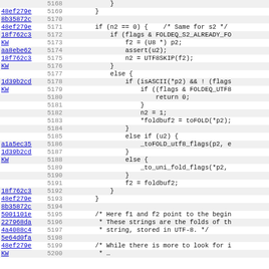[Figure (screenshot): Source code viewer showing C code lines 5168-5199 with git blame hashes and line numbers. Code shows UTF-8 string folding logic with conditions for flags, assert, UTF8SKIP, isASCII, toFOLD, and related operations.]